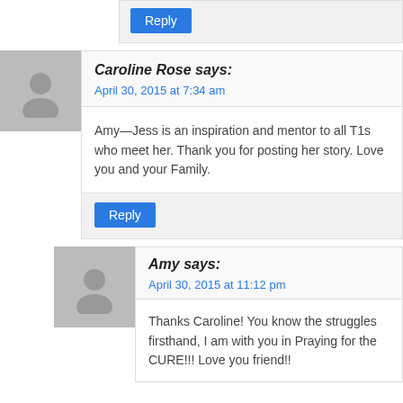Reply
Caroline Rose says:
April 30, 2015 at 7:34 am
Amy—Jess is an inspiration and mentor to all T1s who meet her. Thank you for posting her story. Love you and your Family.
Reply
Amy says:
April 30, 2015 at 11:12 pm
Thanks Caroline! You know the struggles firsthand, I am with you in Praying for the CURE!!! Love you friend!!